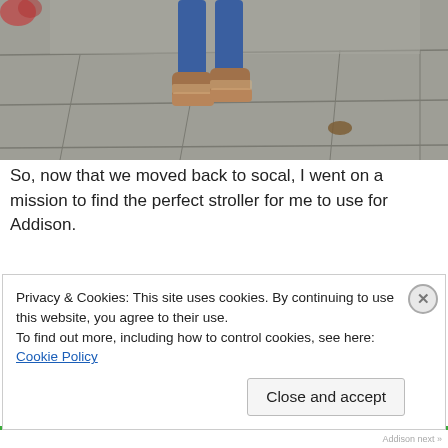[Figure (photo): Photo showing a child's feet and legs wearing blue leggings and brown ugg-style boots, standing on a grey stone paved sidewalk. Some fallen leaves visible on the ground.]
So, now that we moved back to socal, I went on a mission to find the perfect stroller for me to use for Addison.
My requirements:
4 wheels (at least 2 in the front to go up
Privacy & Cookies: This site uses cookies. By continuing to use this website, you agree to their use.
To find out more, including how to control cookies, see here: Cookie Policy
Close and accept